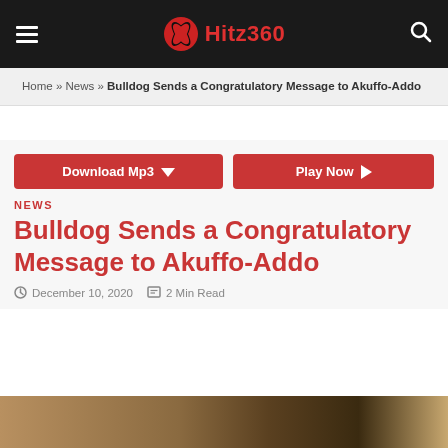Hitz360
Home » News » Bulldog Sends a Congratulatory Message to Akuffo-Addo
[Figure (screenshot): Download Mp3 and Play Now buttons in red]
NEWS
Bulldog Sends a Congratulatory Message to Akuffo-Addo
December 10, 2020  2 Min Read
[Figure (photo): Partial photo strip at the bottom of the page]